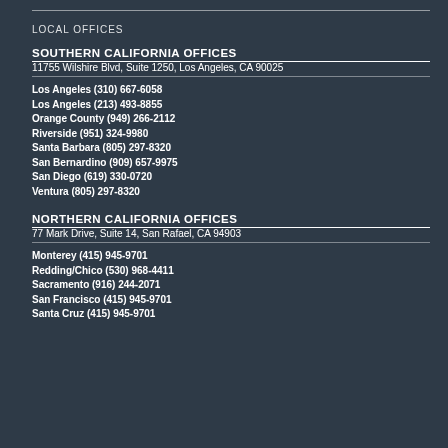LOCAL OFFICES
SOUTHERN CALIFORNIA OFFICES
11755 Wilshire Blvd, Suite 1250, Los Angeles, CA 90025
Los Angeles (310) 667-6058
Los Angeles (213) 493-8855
Orange County (949) 266-2112
Riverside (951) 324-9980
Santa Barbara (805) 297-8320
San Bernardino (909) 657-9975
San Diego (619) 330-0720
Ventura (805) 297-8320
NORTHERN CALIFORNIA OFFICES
77 Mark Drive, Suite 14, San Rafael, CA 94903
Monterey (415) 945-9701
Redding/Chico (530) 968-4411
Sacramento (916) 244-2071
San Francisco (415) 945-9701
Santa Cruz (415) 945-9701